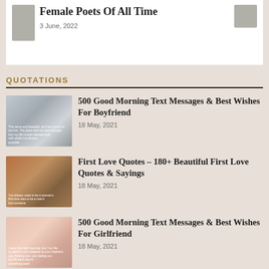Female Poets Of All Time
3 June, 2022
QUOTATIONS
500 Good Morning Text Messages & Best Wishes For Boyfriend
18 May, 2021
First Love Quotes – 180+ Beautiful First Love Quotes & Sayings
18 May, 2021
500 Good Morning Text Messages & Best Wishes For Girlfriend
18 May, 2021